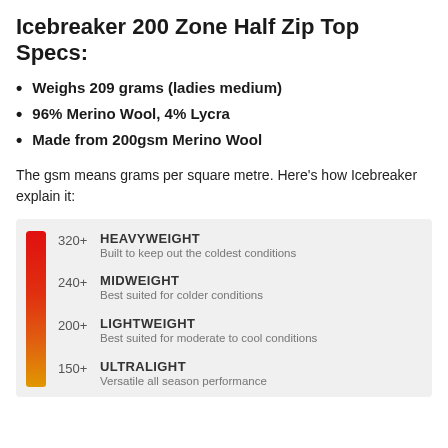Icebreaker 200 Zone Half Zip Top Specs:
Weighs 209 grams (ladies medium)
96% Merino Wool, 4% Lycra
Made from 200gsm Merino Wool
The gsm means grams per square metre. Here's how Icebreaker explain it:
[Figure (infographic): Vertical color bar (red to orange-yellow gradient) with four weight categories labeled: 320+ HEAVYWEIGHT - Built to keep out the coldest conditions; 240+ MIDWEIGHT - Best suited for colder conditions; 200+ LIGHTWEIGHT - Best suited for moderate to cool conditions; 150+ ULTRALIGHT - Versatile all season performance]